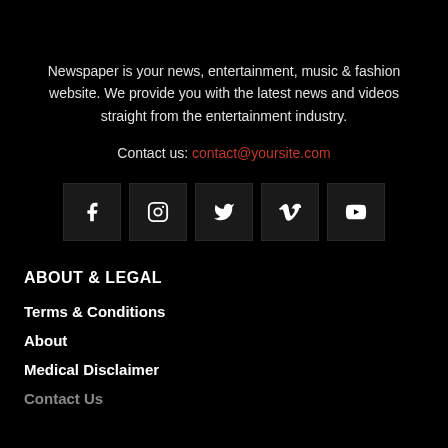Newspaper is your news, entertainment, music & fashion website. We provide you with the latest news and videos straight from the entertainment industry.
Contact us: contact@yoursite.com
[Figure (other): Row of 5 social media icon buttons: Facebook, Instagram, Twitter, Vimeo, YouTube]
ABOUT & LEGAL
Terms & Conditions
About
Medical Disclaimer
Contact Us